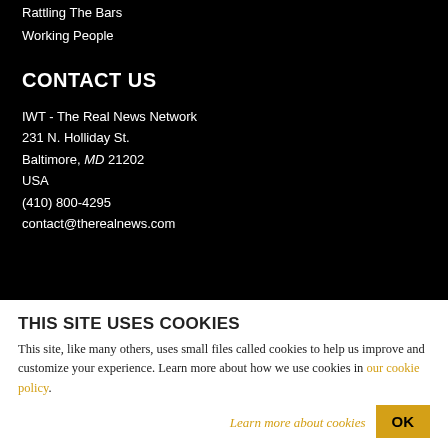Rattling The Bars
Working People
CONTACT US
IWT - The Real News Network
231 N. Holliday St.
Baltimore, MD 21202
USA
(410) 800-4295
contact@therealnews.com
THIS SITE USES COOKIES
This site, like many others, uses small files called cookies to help us improve and customize your experience. Learn more about how we use cookies in our cookie policy.
Learn more about cookies   OK